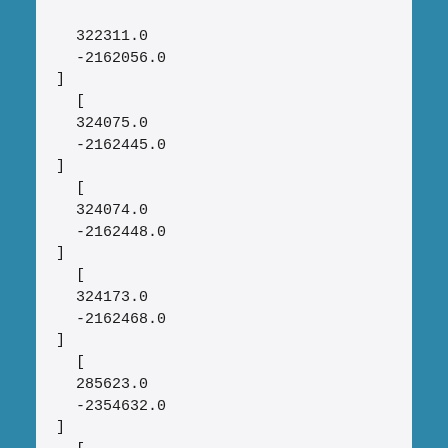322311.0
  -2162056.0
]
  [
  324075.0
  -2162445.0
  ]
  [
  324074.0
  -2162448.0
  ]
  [
  324173.0
  -2162468.0
  ]
  [
  285623.0
  -2354632.0
  ]
  [